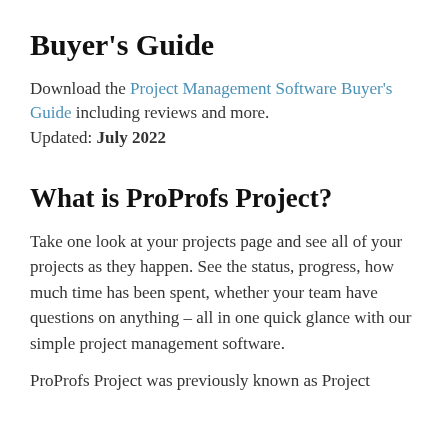Buyer's Guide
Download the Project Management Software Buyer's Guide including reviews and more. Updated: July 2022
What is ProProfs Project?
Take one look at your projects page and see all of your projects as they happen. See the status, progress, how much time has been spent, whether your team have questions on anything – all in one quick glance with our simple project management software.
ProProfs Project was previously known as Project